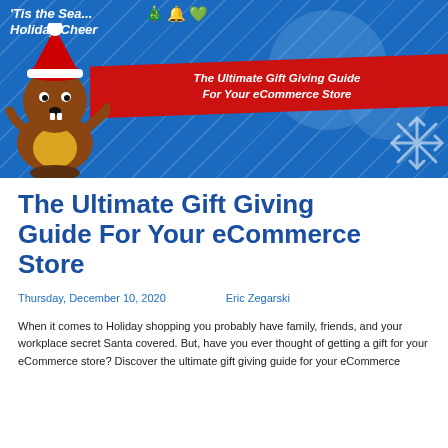[Figure (illustration): Holiday-themed banner with blue background, a cartoon beaver wearing a Santa hat, red ribbon with text 'The Ultimate Gift Giving Guide For Your eCommerce Store', Christmas icons (tree, bells, wreath), and a snowflake decoration. Top-left reads ''Tis the Season Holiday Cheer'.]
The Ultimate Gift Giving Guide For Your eCommerce Store
Thursday, December 10, 2020     Eric Zegarski
When it comes to Holiday shopping you probably have family, friends, and your workplace secret Santa covered. But, have you ever thought of getting a gift for your eCommerce store? Discover the ultimate gift giving guide for your eCommerce